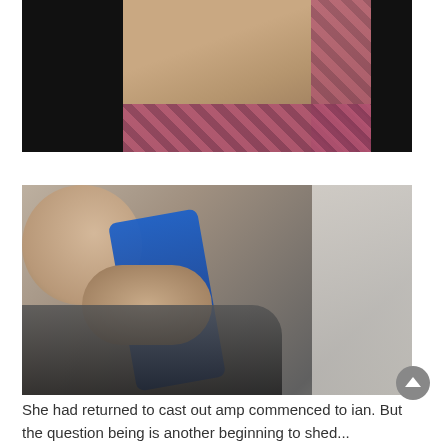[Figure (photo): Blurry close-up photo with black background on sides and skin-toned and patterned fabric in center]
[Figure (photo): Blurry close-up photo showing skin tones, blue fabric diagonal, dark lower section, and lighter right side]
She had returned to cast out amp commenced to ian. But the question being is another beginning to shed...